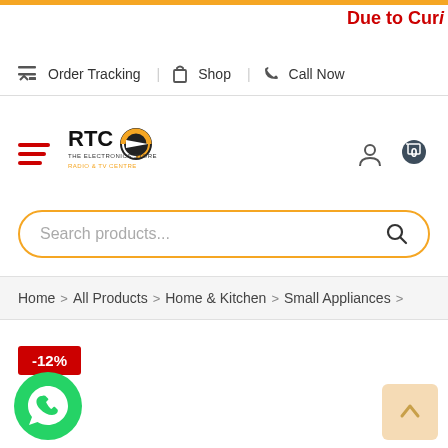Due to Curi
Order Tracking | Shop | Call Now
[Figure (logo): RTC Radio & TV Centre logo with orange and yellow circle design]
[Figure (infographic): Search bar with orange border and placeholder text 'Search products...']
Home > All Products > Home & Kitchen > Small Appliances >
-12%
[Figure (illustration): WhatsApp green circle icon button]
[Figure (illustration): Scroll to top button with up arrow chevron on peach/orange background]